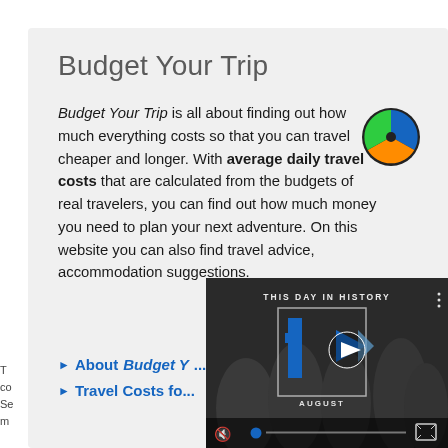Budget Your Trip
Budget Your Trip is all about finding out how much everything costs so that you can travel cheaper and longer. With average daily travel costs that are calculated from the budgets of real travelers, you can find out how much money you need to plan your next adventure. On this website you can also find travel advice, accommodation suggestions.
[Figure (logo): Circular pie-chart style logo with blue, green, and orange segments on a dark background]
About BudgetY...
Travel Costs fo...
[Figure (screenshot): Video overlay showing 'This Day In History' with a blue play button logo, AUGUST label, and video controls including mute, progress bar, and fullscreen button]